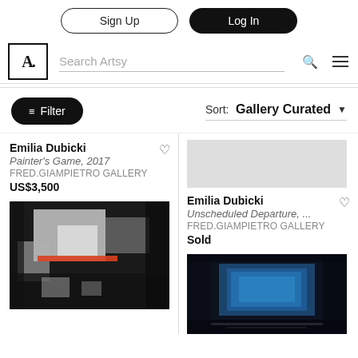Sign Up | Log In
Search Artsy
Filter | Sort: Gallery Curated
Emilia Dubicki
Painter's Game, 2017
FRED.GIAMPIETRO Gallery
US$3,500
[Figure (photo): Abstract painting with dark background and red horizontal stripe, white geometric shapes]
Emilia Dubicki
Unscheduled Departure, ...
FRED.GIAMPIETRO Gallery
Sold
[Figure (photo): Abstract painting - dark navy/black background with blue square shape]